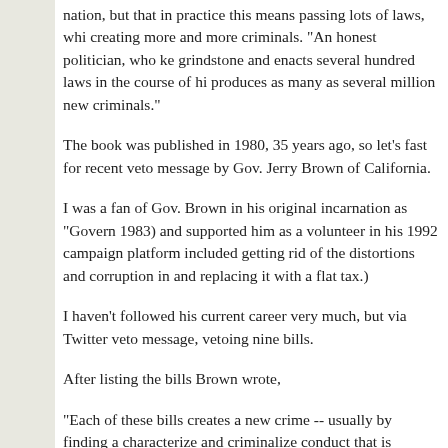nation, but that in practice this means passing lots of laws, which creating more and more criminals. "An honest politician, who ke grindstone and enacts several hundred laws in the course of hi produces as many as several million new criminals."
The book was published in 1980, 35 years ago, so let's fast for recent veto message by Gov. Jerry Brown of California.
I was a fan of Gov. Brown in his original incarnation as "Govern 1983) and supported him as a volunteer in his 1992 campaign platform included getting rid of the distortions and corruption in and replacing it with a flat tax.)
I haven't followed his current career very much, but via Twitter veto message, vetoing nine bills.
After listing the bills Brown wrote,
"Each of these bills creates a new crime -- usually by finding a characterize and criminalize conduct that is already proscribed. particularization of criminal behavior creates increasing comple